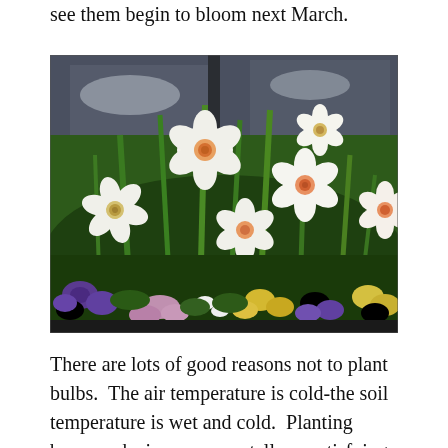see them begin to bloom next March.
[Figure (photo): A window box or planter filled with blooming white and pink daffodils (narcissus) with tall green stems, surrounded by purple, yellow, and white pansies and pink alyssum flowers. Dark glass windows are visible in the background.]
There are lots of good reasons not to plant bulbs.  The air temperature is cold-the soil temperature is wet and cold.  Planting brown orbs is momumentally unsatisfying.  Once placed below ground, there is nothing to show for the